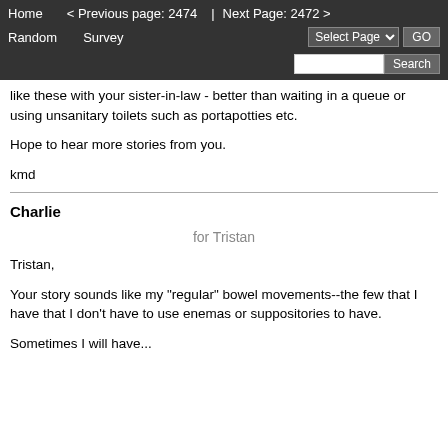Home  < Previous page: 2474  |  Next Page: 2472 >  Random  Survey  Select Page  GO  Search
like these with your sister-in-law - better than waiting in a queue or using unsanitary toilets such as portapotties etc.
Hope to hear more stories from you.
kmd
Charlie
for Tristan
Tristan,
Your story sounds like my "regular" bowel movements--the few that I have that I don't have to use enemas or suppositories to have.
Sometimes I will have...